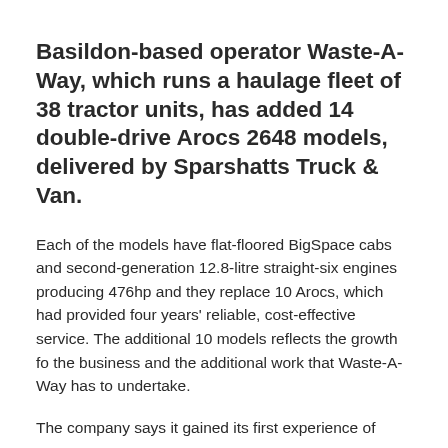Basildon-based operator Waste-A-Way, which runs a haulage fleet of 38 tractor units, has added 14 double-drive Arocs 2648 models, delivered by Sparshatts Truck & Van.
Each of the models have flat-floored BigSpace cabs and second-generation 12.8-litre straight-six engines producing 476hp and they replace 10 Arocs, which had provided four years' reliable, cost-effective service. The additional 10 models reflects the growth fo the business and the additional work that Waste-A-Way has to undertake.
The company says it gained its first experience of